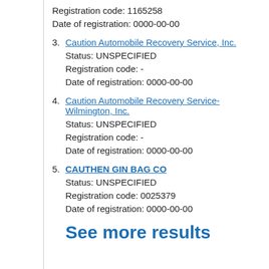Registration code: 1165258
Date of registration: 0000-00-00
3. Caution Automobile Recovery Service, Inc.
Status: UNSPECIFIED
Registration code: -
Date of registration: 0000-00-00
4. Caution Automobile Recovery Service-Wilmington, Inc.
Status: UNSPECIFIED
Registration code: -
Date of registration: 0000-00-00
5. CAUTHEN GIN BAG CO
Status: UNSPECIFIED
Registration code: 0025379
Date of registration: 0000-00-00
See more results